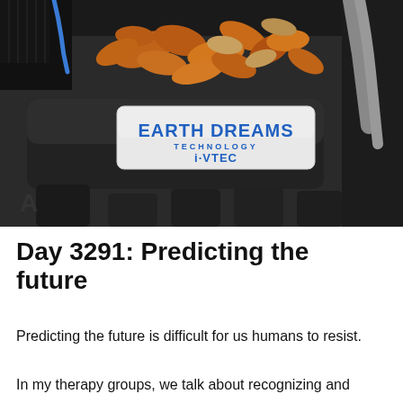[Figure (photo): Close-up photo of a Honda car engine bay showing a metallic badge reading 'EARTH DREAMS TECHNOLOGY i-VTEC' in blue lettering. Autumn leaves are visible in the background near the engine components.]
Day 3291: Predicting the future
Predicting the future is difficult for us humans to resist.
In my therapy groups, we talk about recognizing and